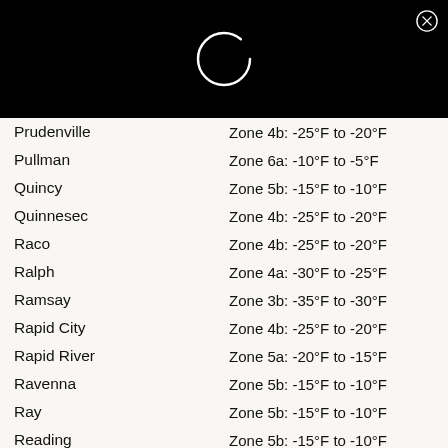[Figure (other): Black header bar with a loading spinner circle in white and a close (X) button in the top-right corner]
| City | Zone |
| --- | --- |
| Prudenville | Zone 4b: -25°F to -20°F |
| Pullman | Zone 6a: -10°F to -5°F |
| Quincy | Zone 5b: -15°F to -10°F |
| Quinnesec | Zone 4b: -25°F to -20°F |
| Raco | Zone 4b: -25°F to -20°F |
| Ralph | Zone 4a: -30°F to -25°F |
| Ramsay | Zone 3b: -35°F to -30°F |
| Rapid City | Zone 4b: -25°F to -20°F |
| Rapid River | Zone 5a: -20°F to -15°F |
| Ravenna | Zone 5b: -15°F to -10°F |
| Ray | Zone 5b: -15°F to -10°F |
| Reading | Zone 5b: -15°F to -10°F |
| Redford | Zone 6a: -10°F to -5°F |
| Reed City | Zone 4b: -25°F to -20°F |